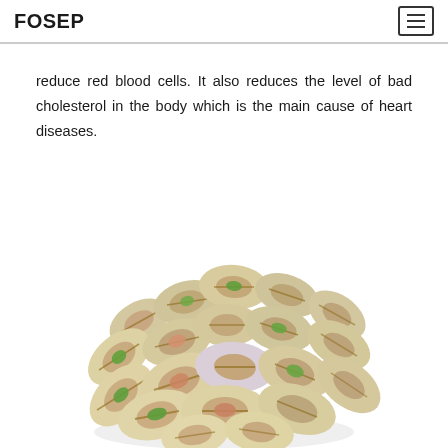FOSEP
reduce red blood cells. It also reduces the level of bad cholesterol in the body which is the main cause of heart diseases.
[Figure (photo): A pile of pistachio nuts in their shells, some open showing green kernels, photographed on a white background.]